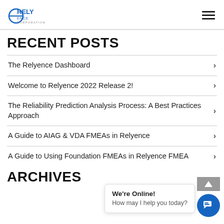RELYENCE CORPORATION
RECENT POSTS
The Relyence Dashboard
Welcome to Relyence 2022 Release 2!
The Reliability Prediction Analysis Process: A Best Practices Approach
A Guide to AIAG & VDA FMEAs in Relyence
A Guide to Using Foundation FMEAs in Relyence FMEA
ARCHIVES
We're Online! How may I help you today?